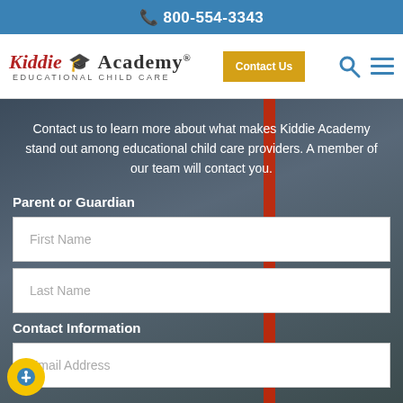800-554-3343
[Figure (logo): Kiddie Academy Educational Child Care logo with graduation cap icon]
Contact Us
Contact us to learn more about what makes Kiddie Academy stand out among educational child care providers. A member of our team will contact you.
Parent or Guardian
First Name
Last Name
Contact Information
Email Address